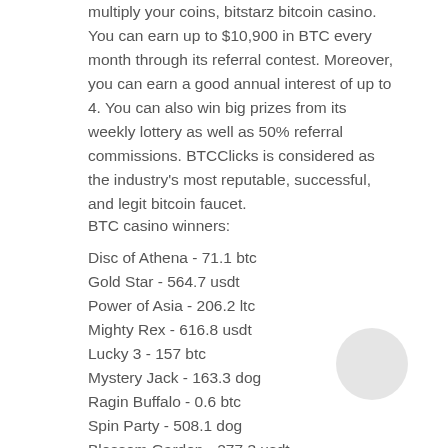multiply your coins, bitstarz bitcoin casino. You can earn up to $10,900 in BTC every month through its referral contest. Moreover, you can earn a good annual interest of up to 4. You can also win big prizes from its weekly lottery as well as 50% referral commissions. BTCClicks is considered as the industry's most reputable, successful, and legit bitcoin faucet.
BTC casino winners:
Disc of Athena - 71.1 btc
Gold Star - 564.7 usdt
Power of Asia - 206.2 ltc
Mighty Rex - 616.8 usdt
Lucky 3 - 157 btc
Mystery Jack - 163.3 dog
Ragin Buffalo - 0.6 btc
Spin Party - 508.1 dog
Blossom Garden - 277.3 usdt
Glutters - 78.1 dog
Nuclear Fishin' - 604.7 usdt